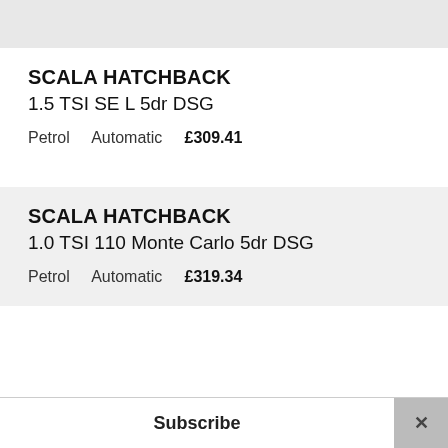SCALA HATCHBACK
1.5 TSI SE L 5dr DSG
Petrol   Automatic   £309.41
SCALA HATCHBACK
1.0 TSI 110 Monte Carlo 5dr DSG
Petrol   Automatic   £319.34
Subscribe  ×